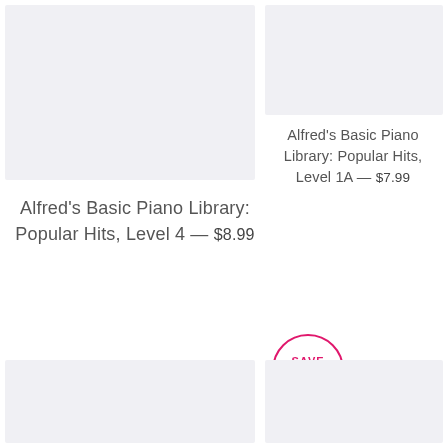[Figure (photo): Top-left product image placeholder, light gray background]
[Figure (photo): Top-right product image placeholder, light gray background]
Alfred's Basic Piano Library: Popular Hits, Level 1A — $7.99
Alfred's Basic Piano Library: Popular Hits, Level 4 — $8.99
[Figure (infographic): SAVE $1.04 circular badge with pink border]
[Figure (photo): Bottom-left product image placeholder, light gray background]
[Figure (photo): Bottom-right product image placeholder, light gray background]